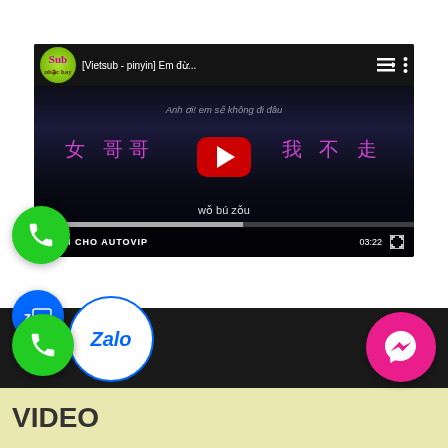[Figure (screenshot): YouTube video player showing a Vietsub-pinyin video titled '[Vietsub - pinyin] Em đừ...' with Chinese characters and subtitle text 'wǒ bú zǒu', timestamp 03:22. Overlaid with GỌI CHO AUTOVIP call button. Green phone button, Zalo logo, and call/messenger floating buttons visible.]
VIDEO
Media error: Format(s) not supported or...